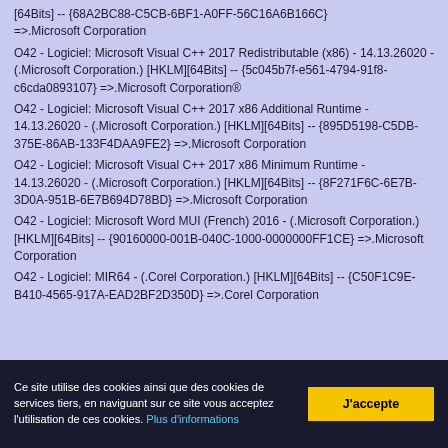[64Bits] -- {68A2BC88-C5CB-6BF1-A0FF-56C16A6B166C} =>.Microsoft Corporation
O42 - Logiciel: Microsoft Visual C++ 2017 Redistributable (x86) - 14.13.26020 - (.Microsoft Corporation.) [HKLM][64Bits] -- {5c045b7f-e561-4794-91f8-c6cda0893107} =>.Microsoft Corporation®
O42 - Logiciel: Microsoft Visual C++ 2017 x86 Additional Runtime - 14.13.26020 - (.Microsoft Corporation.) [HKLM][64Bits] -- {895D5198-C5DB-375E-86AB-133F4DAA9FE2} =>.Microsoft Corporation
O42 - Logiciel: Microsoft Visual C++ 2017 x86 Minimum Runtime - 14.13.26020 - (.Microsoft Corporation.) [HKLM][64Bits] -- {8F271F6C-6E7B-3D0A-951B-6E7B694D78BD} =>.Microsoft Corporation
O42 - Logiciel: Microsoft Word MUI (French) 2016 - (.Microsoft Corporation.) [HKLM][64Bits] -- {90160000-001B-040C-1000-0000000FF1CE} =>.Microsoft Corporation
O42 - Logiciel: MIR64 - (.Corel Corporation.) [HKLM][64Bits] -- {C50F1C9E-B410-4565-917A-EAD2BF2D350D} =>.Corel Corporation
Ce site utilise des cookies ainsi que des cookies de services tiers, en naviguant sur ce site vous acceptez l'utilisation de ces cookies. Plus d'informations